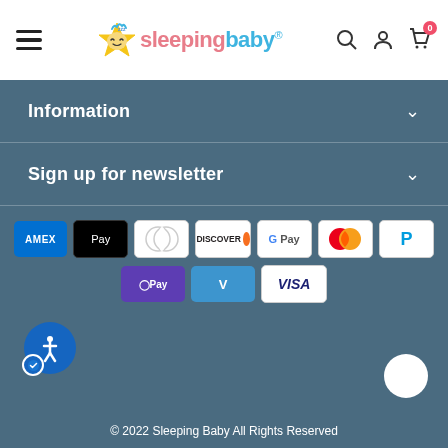sleepingbaby® navigation header with hamburger menu, logo, search, account, and cart icons
Information
Sign up for newsletter
[Figure (other): Payment method icons: AMEX, Apple Pay, Diners, Discover, Google Pay, Mastercard, PayPal, OPay, Venmo, VISA]
[Figure (other): Accessibility button icon (blue circle with figure and checkmark)]
[Figure (other): Chat button (white circle)]
© 2022 Sleeping Baby All Rights Reserved